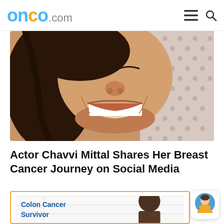onco.com
[Figure (photo): Close-up photo of a smiling Indian woman with dark hair, wearing a patterned blouse]
Actor Chavvi Mittal Shares Her Breast Cancer Journey on Social Media
[Figure (photo): Partial thumbnail card with orange border showing 'Colon Cancer Survivor' text and a bald dark-skinned man]
[Figure (illustration): Chat/support avatar bubble showing a female avatar icon with blue background and yellow top]